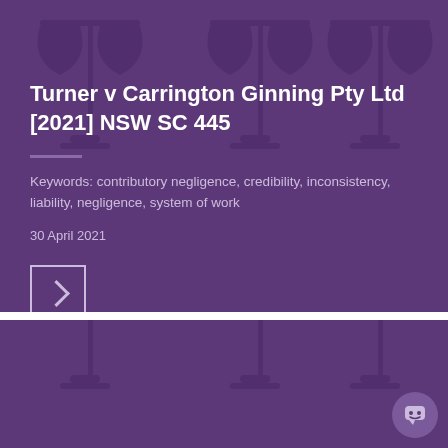[Figure (illustration): Purple card with decorative scales of justice icons in background (darker purple)]
Turner v Carrington Ginning Pty Ltd [2021] NSW SC 445
Keywords: contributory negligence, credibility, inconsistency, liability, negligence, system of work
30 April 2021
[Figure (illustration): Second purple card section with scales of justice icons and a chatbot icon in the bottom right corner]